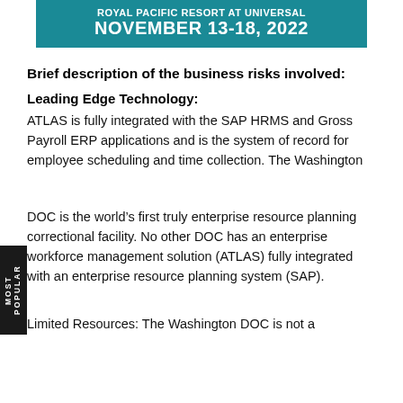ROYAL PACIFIC RESORT AT UNIVERSAL
NOVEMBER 13-18, 2022
Brief description of the business risks involved:
Leading Edge Technology:
ATLAS is fully integrated with the SAP HRMS and Gross Payroll ERP applications and is the system of record for employee scheduling and time collection. The Washington
DOC is the world’s first truly enterprise resource planning correctional facility. No other DOC has an enterprise workforce management solution (ATLAS) fully integrated with an enterprise resource planning system (SAP).
Limited Resources: The Washington DOC is not a